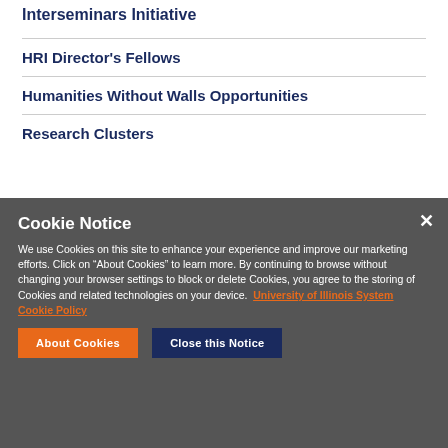Interseminars Initiative
HRI Director's Fellows
Humanities Without Walls Opportunities
Research Clusters
Cookie Notice
We use Cookies on this site to enhance your experience and improve our marketing efforts. Click on “About Cookies” to learn more. By continuing to browse without changing your browser settings to block or delete Cookies, you agree to the storing of Cookies and related technologies on your device. University of Illinois System Cookie Policy
About Cookies
Close this Notice